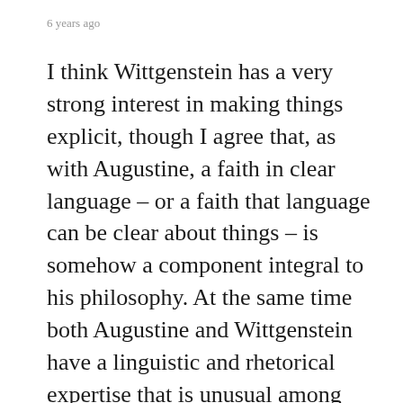6 years ago
I think Wittgenstein has a very strong interest in making things explicit, though I agree that, as with Augustine, a faith in clear language – or a faith that language can be clear about things – is somehow a component integral to his philosophy. At the same time both Augustine and Wittgenstein have a linguistic and rhetorical expertise that is unusual among philosophers; Wittgenstein at least was aware of the way his language was actually rarified, so that he also says the only people that are likely to understand his book are those who have